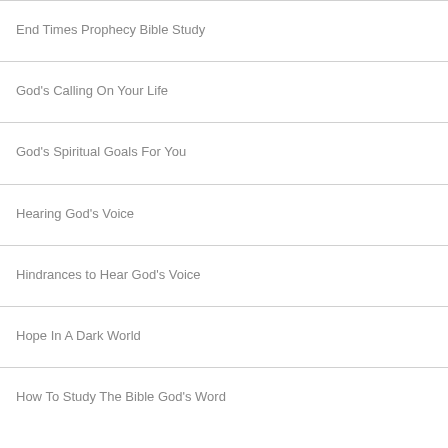End Times Prophecy Bible Study
God's Calling On Your Life
God's Spiritual Goals For You
Hearing God's Voice
Hindrances to Hear God's Voice
Hope In A Dark World
How To Study The Bible God's Word